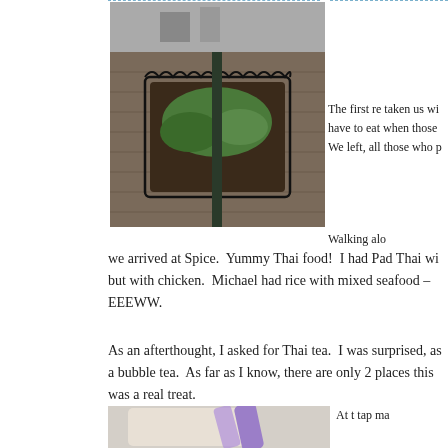[Figure (photo): A street scene showing a square planter/garden bed with a lamppost in the center, surrounded by brick pavement.]
The first re taken us wi have to eat when those  We left, all those who p
Walking alo we arrived at Spice.  Yummy Thai food!  I had Pad Thai wi but with chicken.  Michael had rice with mixed seafood –  EEEWW.
As an afterthought, I asked for Thai tea.  I was surprised, as a bubble tea.  As far as I know, there are only 2 places this was a real treat.
[Figure (photo): A close-up photo of a drink, appears to be a bubble tea or Thai tea with a purple straw.]
At t tap ma